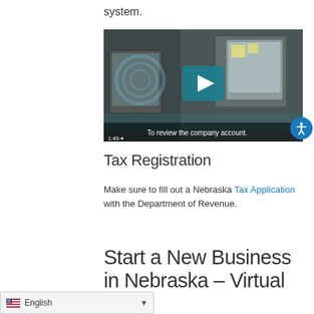system.
[Figure (screenshot): Video thumbnail showing a man at a computer desk with a play button overlay. Caption reads 'To review the company account.' Timestamp shows 1:43.]
Tax Registration
Make sure to fill out a Nebraska Tax Application with the Department of Revenue.
Start a New Business in Nebraska – Virtual